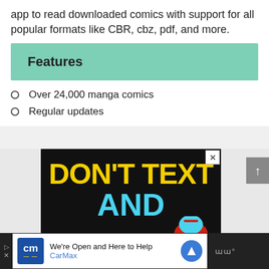app to read downloaded comics with support for all popular formats like CBR, cbz, pdf, and more.
Features
Over 24,000 manga comics
Regular updates
[Figure (screenshot): Advertisement banner showing text 'DON'T TEXT AND' in yellow and cyan on black background with a cartoon robot figure]
[Figure (screenshot): CarMax advertisement banner at bottom: 'We're Open and Here to Help' with CarMax branding and logo]